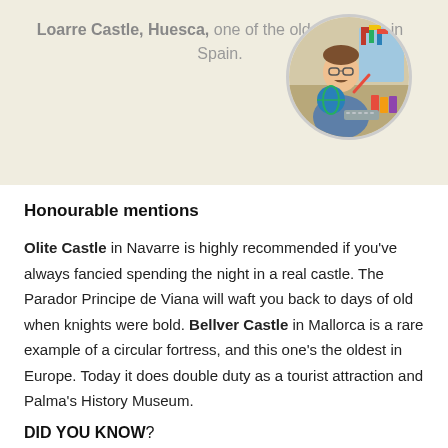Loarre Castle, Huesca, one of the oldest castles in Spain.
[Figure (illustration): Circular avatar illustration of a man sitting at a desk with a globe, books, and pencils, surrounded by international flags on a beige background.]
Honourable mentions
Olite Castle in Navarre is highly recommended if you've always fancied spending the night in a real castle. The Parador Principe de Viana will waft you back to days of old when knights were bold. Bellver Castle in Mallorca is a rare example of a circular fortress, and this one's the oldest in Europe. Today it does double duty as a tourist attraction and Palma's History Museum.
DID YOU KNOW?